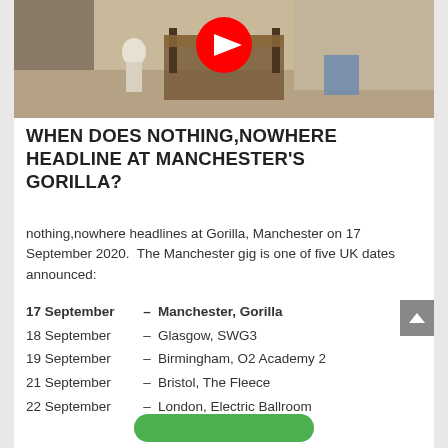[Figure (screenshot): YouTube video thumbnail showing a bedroom scene with a figure in white sitting by a bed, with a YouTube play button overlay]
WHEN DOES NOTHING,NOWHERE HEADLINE AT MANCHESTER'S GORILLA?
nothing,nowhere headlines at Gorilla, Manchester on 17 September 2020.  The Manchester gig is one of five UK dates announced:
17 September  –  Manchester, Gorilla
18 September  –  Glasgow, SWG3
19 September  –  Birmingham, O2 Academy 2
21 September  –  Bristol, The Fleece
22 September  –  London, Electric Ballroom